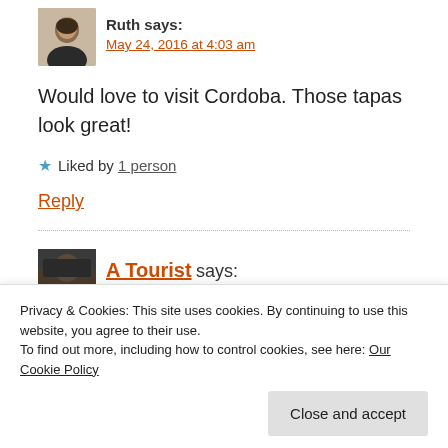Ruth says:
May 24, 2016 at 4:03 am
Would love to visit Cordoba. Those tapas look great!
★ Liked by 1 person
Reply
A Tourist says:
Privacy & Cookies: This site uses cookies. By continuing to use this website, you agree to their use.
To find out more, including how to control cookies, see here: Our Cookie Policy
Close and accept